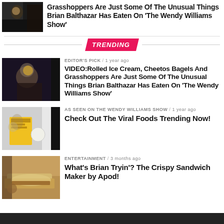[Figure (photo): Small thumbnail of a man in dark setting]
Grasshoppers Are Just Some Of The Unusual Things Brian Balthazar Has Eaten On 'The Wendy Williams Show'
TRENDING
[Figure (photo): Man in suit throwing food, dramatic lighting]
EDITOR'S PICK / 1 year ago
VIDEO:Rolled Ice Cream, Cheetos Bagels And Grasshoppers Are Just Some Of The Unusual Things Brian Balthazar Has Eaten On 'The Wendy Williams Show'
[Figure (photo): Man reading a yellow book about food with a drink]
AS SEEN ON THE WENDY WILLIAMS SHOW / 1 year ago
Check Out The Viral Foods Trending Now!
[Figure (photo): Crispy sandwich on a wooden board]
ENTERTAINMENT / 3 months ago
What's Brian Tryin'? The Crispy Sandwich Maker by Apod!